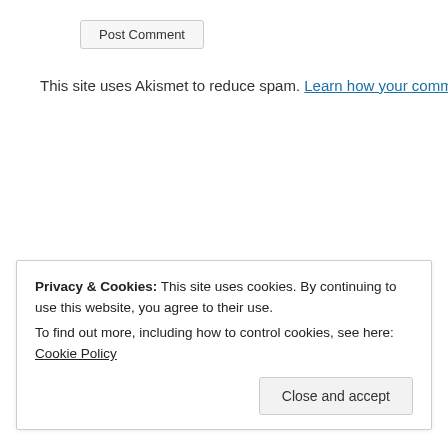Post Comment
This site uses Akismet to reduce spam. Learn how your commer
Privacy & Cookies: This site uses cookies. By continuing to use this website, you agree to their use.
To find out more, including how to control cookies, see here: Cookie Policy
Close and accept